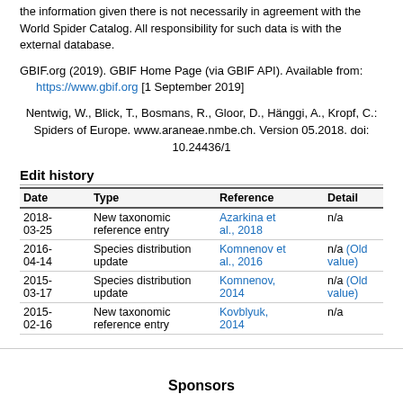the information given there is not necessarily in agreement with the World Spider Catalog. All responsibility for such data is with the external database.
GBIF.org (2019). GBIF Home Page (via GBIF API). Available from: https://www.gbif.org [1 September 2019]
Nentwig, W., Blick, T., Bosmans, R., Gloor, D., Hänggi, A., Kropf, C.: Spiders of Europe. www.araneae.nmbe.ch. Version 05.2018. doi: 10.24436/1
Edit history
| Date | Type | Reference | Detail |
| --- | --- | --- | --- |
| 2018-03-25 | New taxonomic reference entry | Azarkina et al., 2018 | n/a |
| 2016-04-14 | Species distribution update | Komnenov et al., 2016 | n/a (Old value) |
| 2015-03-17 | Species distribution update | Komnenov, 2014 | n/a (Old value) |
| 2015-02-16 | New taxonomic reference entry | Kovblyuk, 2014 | n/a |
Sponsors